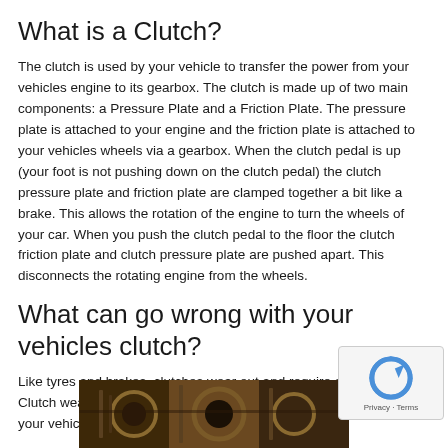What is a Clutch?
The clutch is used by your vehicle to transfer the power from your vehicles engine to its gearbox. The clutch is made up of two main components: a Pressure Plate and a Friction Plate. The pressure plate is attached to your engine and the friction plate is attached to your vehicles wheels via a gearbox. When the clutch pedal is up (your foot is not pushing down on the clutch pedal) the clutch pressure plate and friction plate are clamped together a bit like a brake. This allows the rotation of the engine to turn the wheels of your car. When you push the clutch pedal to the floor the clutch friction plate and clutch pressure plate are pushed apart. This disconnects the rotating engine from the wheels.
What can go wrong with your vehicles clutch?
Like tyres and brakes, clutches wear out and require attention. Clutch wear is very much determined by the way in which you drive your vehicle.
[Figure (photo): Photo of a clutch mechanism showing gears and mechanical components, partially visible at the bottom of the page]